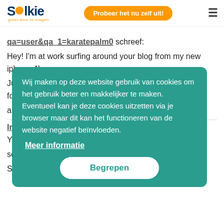[Figure (logo): Solkie logo with orange dot replacing the 'o', tagline 'groei door te vragen']
[Figure (other): Orange button: 'Probeer het nu zelf uit!']
[Figure (other): Hamburger menu icon]
qa=user&qa_1=karatepalm0 schreef:
Hey! I'm at work surfing around your blog from my new iphone 4!
Just wanted to say I love reading your blog and look forward to
all you
Irmo
You a
some
So gre
[Figure (other): Cookie consent overlay with teal background. Text: 'Wij maken op deze website gebruik van cookies om het gebruik beter en makkelijker te maken. Eventueel kan je deze cookies uitzetten via je browser maar dit kan het functioneren van de website negatief beïnvloeden.' Link: 'Meer informatie'. Button: 'Begrepen']